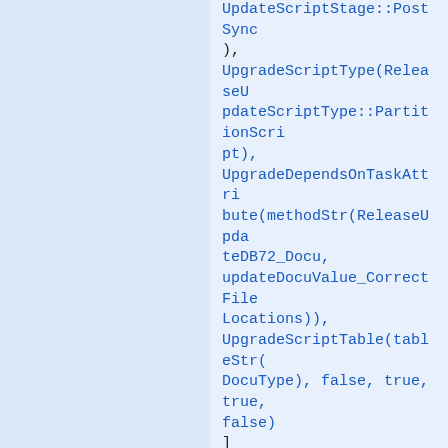UpdateScriptStage::PostSync),
UpgradeScriptType(ReleaseUpdateScriptType::PartitionScript),
UpgradeDependsOnTaskAttribute(methodStr(ReleaseUpdateDB72_Docu, updateDocuValue_CorrectFileLocations)),
UpgradeScriptTable(tableStr(DocuType), false, true, true, false)
]
public void updateDocuType_CorrectFilePlacement()
{
next updateDocuType_CorrectFilePlacement();
this.monCreateNewDocuType();
}

///